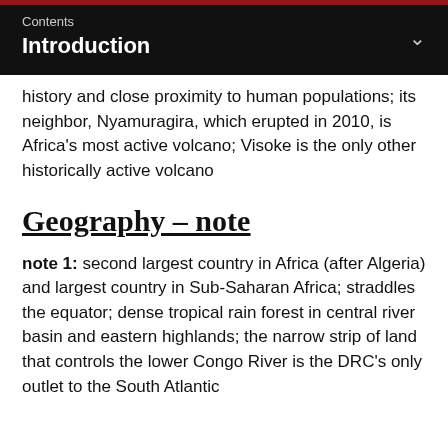Contents
Introduction
history and close proximity to human populations; its neighbor, Nyamuragira, which erupted in 2010, is Africa's most active volcano; Visoke is the only other historically active volcano
Geography – note
note 1: second largest country in Africa (after Algeria) and largest country in Sub-Saharan Africa; straddles the equator; dense tropical rain forest in central river basin and eastern highlands; the narrow strip of land that controls the lower Congo River is the DRC's only outlet to the South Atlantic